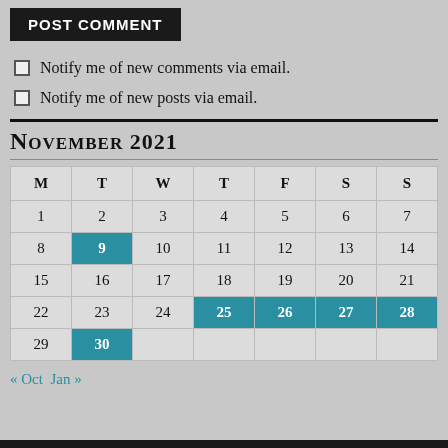POST COMMENT
Notify me of new comments via email.
Notify me of new posts via email.
NOVEMBER 2021
| M | T | W | T | F | S | S |
| --- | --- | --- | --- | --- | --- | --- |
| 1 | 2 | 3 | 4 | 5 | 6 | 7 |
| 8 | 9 | 10 | 11 | 12 | 13 | 14 |
| 15 | 16 | 17 | 18 | 19 | 20 | 21 |
| 22 | 23 | 24 | 25 | 26 | 27 | 28 |
| 29 | 30 |  |  |  |  |  |
« Oct   Jan »